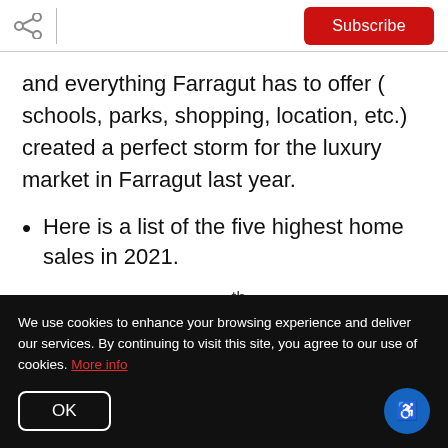Subscribe
and everything Farragut has to offer ( schools, parks, shopping, location, etc.) created a perfect storm for the luxury market in Farragut last year.
Here is a list of the five highest home sales in 2021.
There was a tie for 5th place so there are actually
We use cookies to enhance your browsing experience and deliver our services. By continuing to visit this site, you agree to our use of cookies. More info